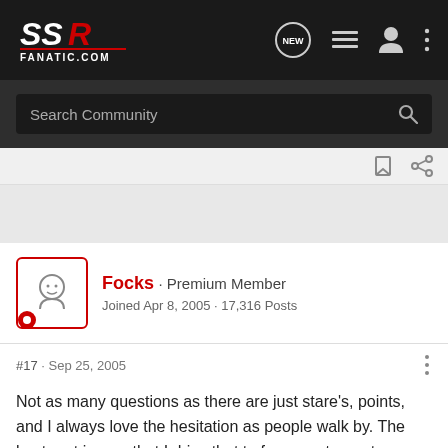SSR Fanatic.com
Search Community
Focks · Premium Member
Joined Apr 8, 2005 · 17,316 Posts
#17 · Sep 25, 2005
Not as many questions as there are just stare's, points, and I always love the hesitation as people walk by. The best part is now that I drive that to fancy restaurants, instead of my big green Dodge, they always valet park my car right up front near the Mercedes and Jaguar's. :thumbs